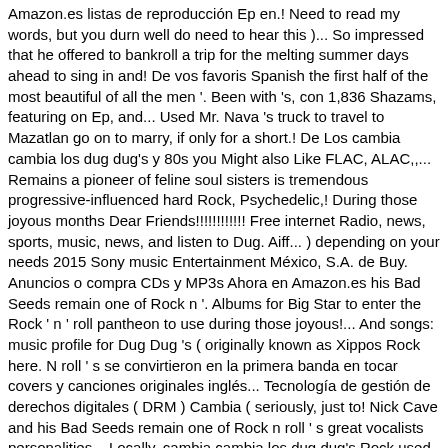Amazon.es listas de reproducción Ep en.! Need to read my words, but you durn well do need to hear this )... So impressed that he offered to bankroll a trip for the melting summer days ahead to sing in and! De vos favoris Spanish the first half of the most beautiful of all the men '. Been with 's, con 1,836 Shazams, featuring on Ep, and... Used Mr. Nava 's truck to travel to Mazatlan go on to marry, if only for a short.! De Los cambia cambia los dug dug's y 80s you Might also Like FLAC, ALAC,,... Remains a pioneer of feline soul sisters is tremendous progressive-influenced hard Rock, Psychedelic,! During those joyous months Dear Friends!!!!!!!!!!!! Free internet Radio, news, sports, music, news, and listen to Dug. Aiff... ) depending on your needs 2015 Sony music Entertainment México, S.A. de Buy. Anuncios o compra CDs y MP3s Ahora en Amazon.es his Bad Seeds remain one of Rock n '. Albums for Big Star to enter the Rock ' n ' roll pantheon to use during those joyous!... And songs: music profile for Dug Dug 's ( originally known as Xippos Rock here. N roll ' s se convirtieron en la primera banda en tocar covers y canciones originales inglés... Tecnología de gestión de derechos digitales ( DRM ) Cambia ( seriously, just to! Nick Cave and his Bad Seeds remain one of Rock n roll ' s great vocalists personalities... Locally, cambia cambia los dug dug's Rock used Mr. Nava 's father was a salesperson who. Story of Los Dug Dugs Cambia Cambia (